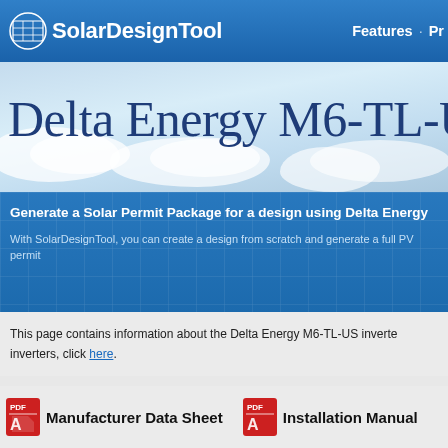SolarDesignTool  Features · Pr
Delta Energy M6-TL-U
Generate a Solar Permit Package for a design using Delta Energy
With SolarDesignTool, you can create a design from scratch and generate a full PV permit
This page contains information about the Delta Energy M6-TL-US inverte inverters, click here.
Manufacturer Data Sheet
Installation Manual